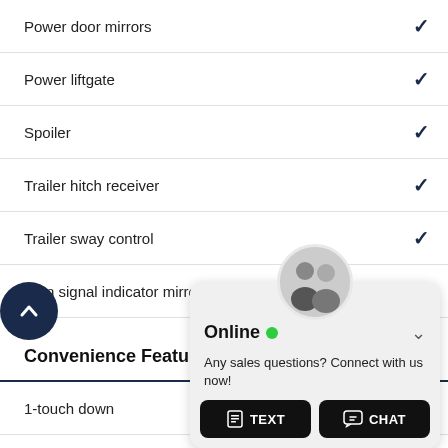Power door mirrors  ✓
Power liftgate  ✓
Spoiler  ✓
Trailer hitch receiver  ✓
Trailer sway control  ✓
Turn signal indicator mirrors  ✓
Convenience Features   Standard
1-touch down  ✓
1-touch up  ✓
Adaptive Cruise Control  ✓
Air conditioning  ✓
Audio memory  ✓
Auto-dimming rearview m...
Autom...
Autom...
Drive...
Drive...
Front...
[Figure (screenshot): Chat popup overlay showing two customer service representatives, 'Online' status with green dot, message 'Any sales questions? Connect with us now!' and two buttons: TEXT and CHAT]